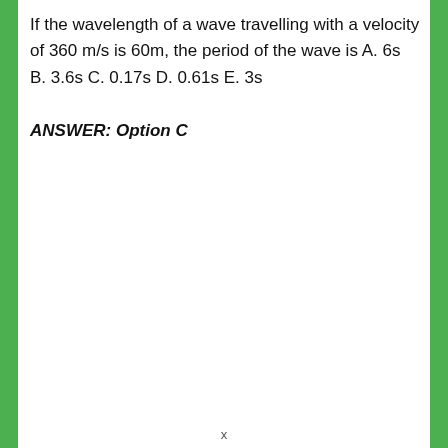If the wavelength of a wave travelling with a velocity of 360 m/s is 60m, the period of the wave is A. 6s B. 3.6s C. 0.17s D. 0.61s E. 3s
ANSWER: Option C